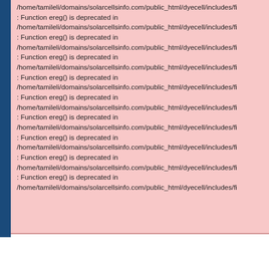/home/tamileli/domains/solarcellsinfo.com/public_html/dyecell/includes/fi
: Function ereg() is deprecated in
/home/tamileli/domains/solarcellsinfo.com/public_html/dyecell/includes/fi
: Function ereg() is deprecated in
/home/tamileli/domains/solarcellsinfo.com/public_html/dyecell/includes/fi
: Function ereg() is deprecated in
/home/tamileli/domains/solarcellsinfo.com/public_html/dyecell/includes/fi
: Function ereg() is deprecated in
/home/tamileli/domains/solarcellsinfo.com/public_html/dyecell/includes/fi
: Function ereg() is deprecated in
/home/tamileli/domains/solarcellsinfo.com/public_html/dyecell/includes/fi
: Function ereg() is deprecated in
/home/tamileli/domains/solarcellsinfo.com/public_html/dyecell/includes/fi
: Function ereg() is deprecated in
/home/tamileli/domains/solarcellsinfo.com/public_html/dyecell/includes/fi
: Function ereg() is deprecated in
/home/tamileli/domains/solarcellsinfo.com/public_html/dyecell/includes/fi
: Function ereg() is deprecated in
/home/tamileli/domains/solarcellsinfo.com/public_html/dyecell/includes/fi
Filters: author is Idriss